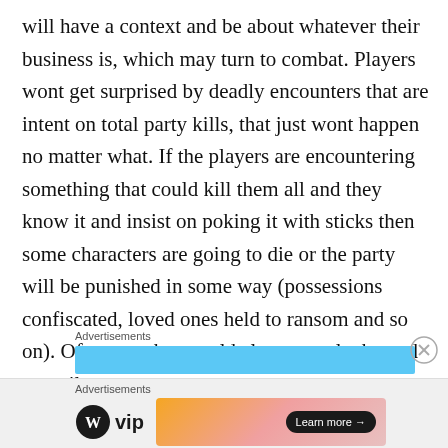will have a context and be about whatever their business is, which may turn to combat. Players wont get surprised by deadly encounters that are intent on total party kills, that just wont happen no matter what. If the players are encountering something that could kill them all and they know it and insist on poking it with sticks then some characters are going to die or the party will be punished in some way (possessions confiscated, loved ones held to ransom and so on). Of course they could always get lucky and prevail.
[Figure (other): Advertisement banner area with light blue bar and Advertisements label above it, with a close button (X circle) to the right]
[Figure (other): Bottom advertisement section with Advertisements label, WordPress VIP logo on left, and a gradient orange/pink banner ad with Learn more arrow button on right]